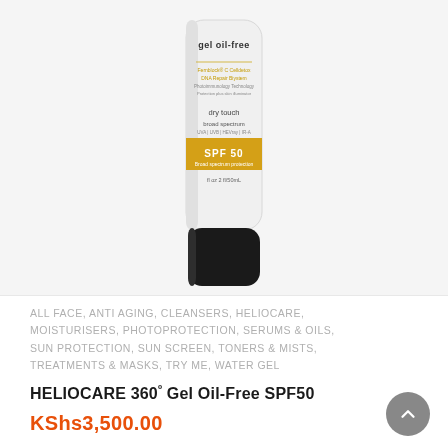[Figure (photo): Heliocare 360 Gel Oil-Free SPF50 sunscreen tube product photo. White tube with black cap, gold/yellow SPF 50 band label, text reading 'gel oil-free', 'dry touch', 'broad spectrum', SPF 50 prominently shown.]
ALL FACE, ANTI AGING, CLEANSERS, HELIOCARE, MOISTURISERS, PHOTOPROTECTION, SERUMS & OILS, SUN PROTECTION, SUN SCREEN, TONERS & MISTS, TREATMENTS & MASKS, TRY ME, WATER GEL
HELIOCARE 360º Gel Oil-Free SPF50
KShs3,500.00